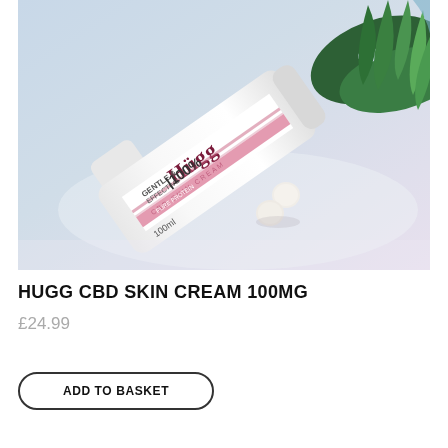[Figure (photo): Product photo of Hugg CBD Skin Cream 100mg bottle laid on its side on a light blue/grey surface, with green tropical leaves in the background and two small white round pills/tablets beside the bottle. The bottle is white with pink/mauve branding showing 'Hugg CBD Skin Cream', '100%', 'Gentle & Effective', '100ml'.]
HUGG CBD SKIN CREAM 100MG
£24.99
ADD TO BASKET